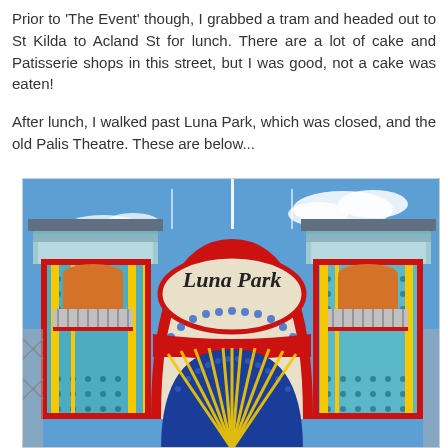Prior to 'The Event' though, I grabbed a tram and headed out to St Kilda to Acland St for lunch. There are a lot of cake and Patisserie shops in this street, but I was good, not a cake was eaten!

After lunch, I walked past Luna Park, which was closed, and the old Palis Theatre. These are below...
[Figure (photo): Photograph of the colorful Luna Park entrance gate in St Kilda, Melbourne. Shows two ornate towers with red, blue, yellow and white decorations, a large arch with 'Luna Park' written in script lettering on a cream oval sign, and a fan/sunburst pattern arch below. The background shows a blue sky with white clouds.]